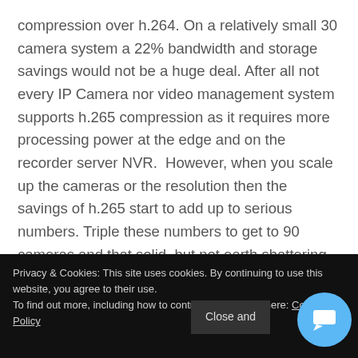compression over h.264. On a relatively small 30 camera system a 22% bandwidth and storage savings would not be a huge deal. After all not every IP Camera nor video management system supports h.265 compression as it requires more processing power at the edge and on the recorder server NVR.  However, when you scale up the cameras or the resolution then the savings of h.265 start to add up to serious numbers. Triple these numbers to get to 90 cameras and that solid, but not earth shattering storage savings of 37TB becomes 111TB. Even using super high-end 10TB drives that means you need at least 14 drives (assuming best practices RAID 6 double parity drive
Privacy & Cookies: This site uses cookies. By continuing to use this website, you agree to their use.
To find out more, including how to control cookies, see here: Cookie Policy